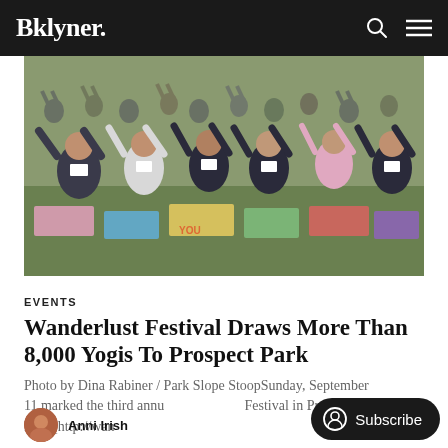Bklyner.
[Figure (photo): Large crowd of people doing yoga outdoors in Prospect Park, arms raised, standing on colorful yoga mats.]
EVENTS
Wanderlust Festival Draws More Than 8,000 Yogis To Prospect Park
Photo by Dina Rabiner / Park Slope StoopSunday, September 11 marked the third annu… Festival in Prospect Park [http://wan…
Anni Irish